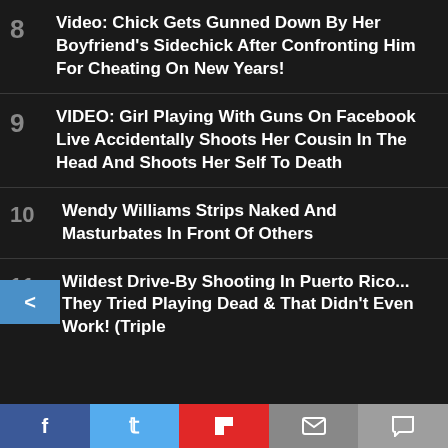8 Video: Chick Gets Gunned Down By Her Boyfriend's Sidechick After Confronting Him For Cheating On New Years!
9 VIDEO: Girl Playing With Guns On Facebook Live Accidentally Shoots Her Cousin In The Head And Shoots Her Self To Death
10 Wendy Williams Strips Naked And Masturbates In Front Of Others
11 Wildest Drive-By Shooting In Puerto Rico... They Tried Playing Dead & That Didn't Even Work! (Triple Homicide)